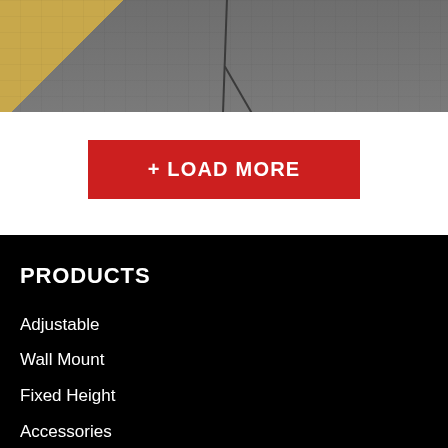[Figure (photo): Photograph of a concrete floor/pavement with a crack line running diagonally, and a triangular shadow (sunlight) in the upper left corner casting on the grey concrete surface.]
+ LOAD MORE
PRODUCTS
Adjustable
Wall Mount
Fixed Height
Accessories